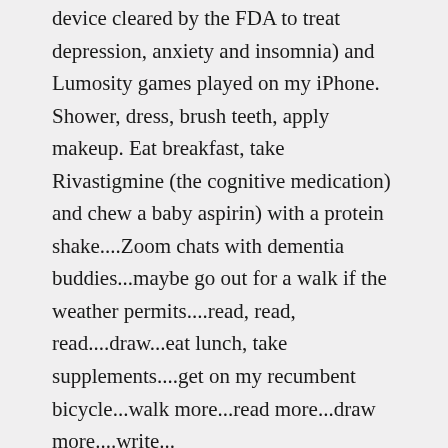device cleared by the FDA to treat depression, anxiety and insomnia) and Lumosity games played on my iPhone. Shower, dress, brush teeth, apply makeup. Eat breakfast, take Rivastigmine (the cognitive medication) and chew a baby aspirin) with a protein shake....Zoom chats with dementia buddies...maybe go out for a walk if the weather permits....read, read, read....draw...eat lunch, take supplements....get on my recumbent bicycle...walk more...read more...draw more....write...
*****
I have prayed to accept this disease, to find ways to adapt as it changes, prayed to have the courage to travel alone again. On Friday I had